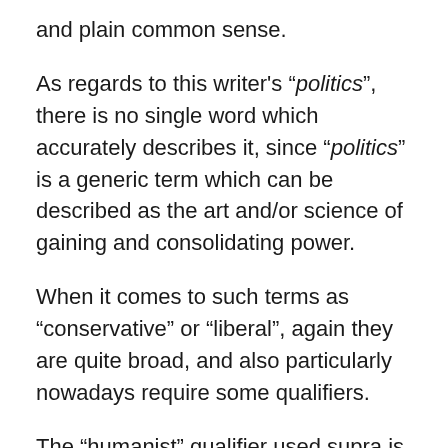and plain common sense.
As regards to this writer's “politics”, there is no single word which accurately describes it, since “politics” is a generic term which can be described as the art and/or science of gaining and consolidating power.
When it comes to such terms as “conservative” or “liberal”, again they are quite broad, and also particularly nowadays require some qualifiers.
The “humanist” qualifier used supra is a philosophical one but it also influences ones “political” views, and in this writer’s perspective one can be a “conservative” and a “liberal” simultaneously and one can also be a constructive, progressive values embracing conservative and/or a similarly constructive, progressive values embracing liberal.